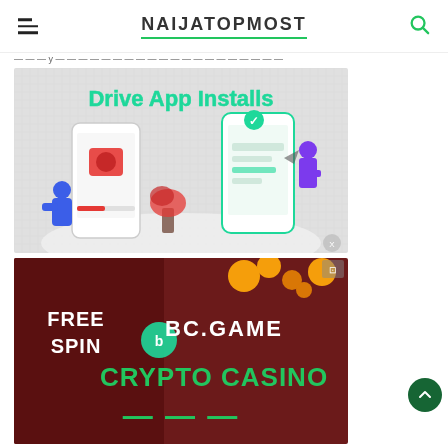NAIJATOPMOST
[Figure (illustration): Drive App Installs advertisement showing two smartphones with app download interface, person sitting with phone and person standing interacting with a large phone, plant decoration, grey textured background]
[Figure (illustration): BC.GAME Crypto Casino advertisement with FREE SPIN text on dark red/maroon background with gold coins and green text reading CRYPTO CASINO]